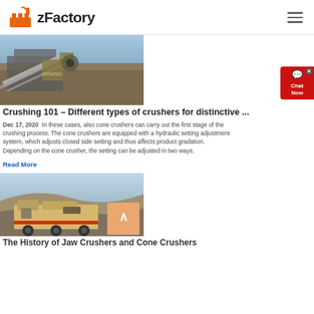zFactory
[Figure (photo): Industrial crushing equipment with conveyor belts and machinery at a mining site]
Crushing 101 – Different types of crushers for distinctive ...
Dec 17, 2020  In these cases, also cone crushers can carry out the first stage of the crushing process. The cone crushers are equipped with a hydraulic setting adjustment system, which adjusts closed side setting and thus affects product gradation. Depending on the cone crusher, the setting can be adjusted in two ways.
Read More
[Figure (photo): Large mobile crusher machine at an open-pit quarry site]
The History of Jaw Crushers and Cone Crushers